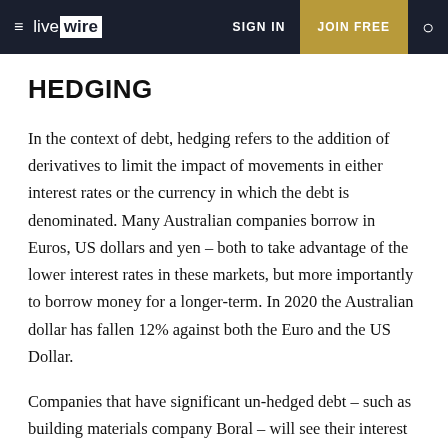live wire | SIGN IN | JOIN FREE
HEDGING
In the context of debt, hedging refers to the addition of derivatives to limit the impact of movements in either interest rates or the currency in which the debt is denominated. Many Australian companies borrow in Euros, US dollars and yen – both to take advantage of the lower interest rates in these markets, but more importantly to borrow money for a longer-term. In 2020 the Australian dollar has fallen 12% against both the Euro and the US Dollar.
Companies that have significant un-hedged debt – such as building materials company Boral – will see their interest costs increase, especially if the company